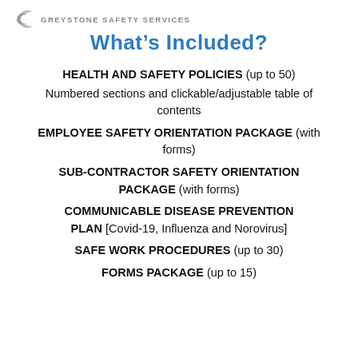Greystone Safety Services
What's Included?
HEALTH AND SAFETY POLICIES (up to 50)
Numbered sections and clickable/adjustable table of contents
EMPLOYEE SAFETY ORIENTATION PACKAGE (with forms)
SUB-CONTRACTOR SAFETY ORIENTATION PACKAGE (with forms)
COMMUNICABLE DISEASE PREVENTION PLAN [Covid-19, Influenza and Norovirus]
SAFE WORK PROCEDURES (up to 30)
FORMS PACKAGE (up to 15)